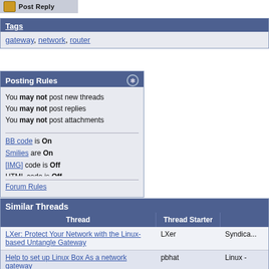[Figure (other): Post Reply button with icon at top left]
Tags
gateway, network, router
Posting Rules
You may not post new threads
You may not post replies
You may not post attachments
You may not edit your posts
BB code is On
Smilies are On
[IMG] code is Off
HTML code is Off
Forum Rules
Similar Threads
| Thread | Thread Starter |  |
| --- | --- | --- |
| LXer: Protect Your Network with the Linux-based Untangle Gateway | LXer | Syndica... |
| Help to set up Linux Box As a network gateway | pbhat | Linux - |
| Linux Network Gateway | matsko | Linux - |
| Linux as file server/media gateway | nashallen | Linux - |